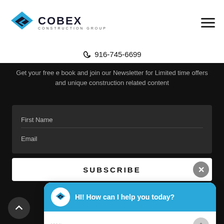[Figure (logo): Cobex Construction Group logo with blue diamond-shaped icon and dark text]
916-745-6699
Get your free e book and join our Newsletter for Limited time offers and unique construction related content
First Name
Email
SUBSCRIBE
HI! How can I help you today?
Write your message...